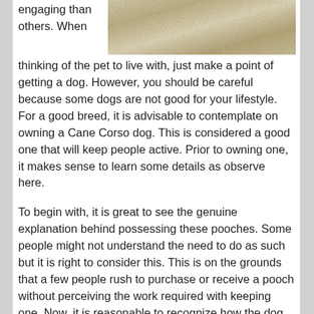[Figure (photo): Close-up photo of a light-colored fluffy dog (likely a Cane Corso or similar breed), showing fur texture.]
engaging than others. When thinking of the pet to live with, just make a point of getting a dog. However, you should be careful because some dogs are not good for your lifestyle. For a good breed, it is advisable to contemplate on owning a Cane Corso dog. This is considered a good one that will keep people active. Prior to owning one, it makes sense to learn some details as observe here.
To begin with, it is great to see the genuine explanation behind possessing these pooches. Some people might not understand the need to do as such but it is right to consider this. This is on the grounds that a few people rush to purchase or receive a pooch without perceiving the work required with keeping one. Now, it is reasonable to recognize how the dog acts before taking it to your home. This sort of breed is known for its active exercises, requires space for its activities and will need supervision when kids are around. When you